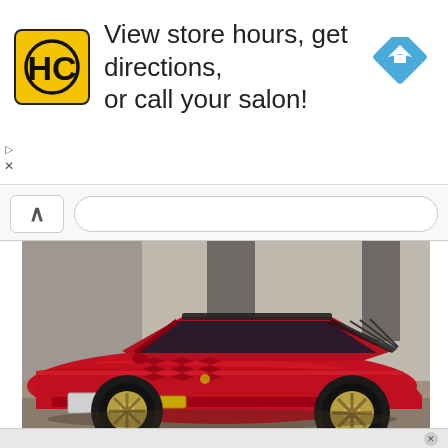[Figure (screenshot): Advertisement banner with HC (Hair Club) yellow logo, text 'View store hours, get directions, or call your salon!' and a blue Google Maps navigation diamond icon on the right.]
[Figure (screenshot): Browser navigation bar with back chevron button (^) and URL address bar.]
[Figure (photo): Red Lancia Stratos sports car photographed in front of a grey concrete building. The car has gold rally wheels, black windshield, hood vents, and a small spoiler. The ground is sandy/gravelly.]
[Figure (screenshot): Bottom grey advertisement strip with close (x) circle button.]